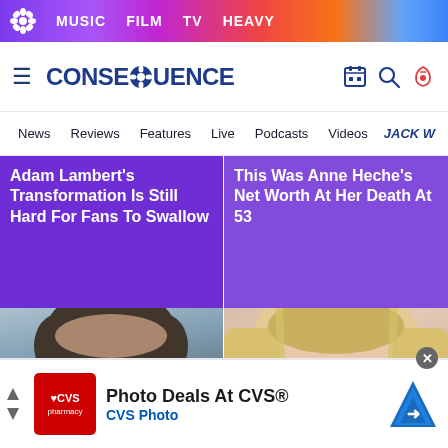MUSIC FILM TV HEAVY
[Figure (logo): Consequence of Sound logo and navigation header]
News Reviews Features Live Podcasts Videos JACK W
Adam Lambert's Transformation Is Still Hard For Fans To Swallow
This Was Anne Heche's Net Worth At Her Death At 53
[Figure (photo): Close-up headshot of a man with dark hair and beard (Luke Perry)]
[Figure (photo): Close-up of a blonde woman's face (Jenna)]
Luke Perry's True
The Tragedy Of Jenna
Photo Deals At CVS®
CVS Photo